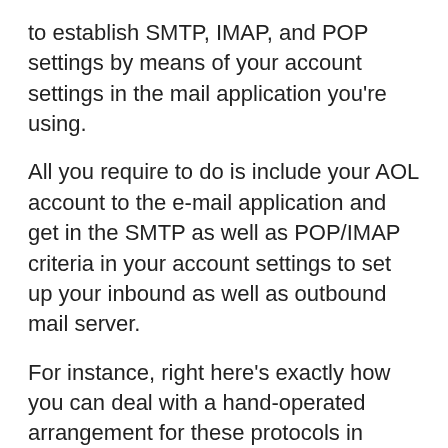to establish SMTP, IMAP, and POP settings by means of your account settings in the mail application you're using.
All you require to do is include your AOL account to the e-mail application and get in the SMTP as well as POP/IMAP criteria in your account settings to set up your inbound as well as outbound mail server.
For instance, right here's exactly how you can deal with a hand-operated arrangement for these protocols in Microsoft Expectation account setups:.
1. SMTP.
Open your Microsoft Overview mail application.
Go to Submit > Information > Account Setups > Web Server Setups.
Then, click Outward bound Mail and go into the